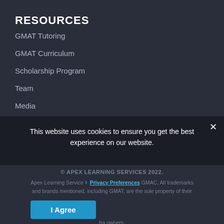RESOURCES
GMAT Tutoring
GMAT Curriculum
Scholarship Program
Team
Media
FAQs
This website uses cookies to ensure you get the best experience on our website.
© APEX LEARNING SERVICES 2022. Apex Learning Services › Privacy Preferences GMAC. All trademarks and brands mentioned, including GMAT, are the sole property of their trademark owners.